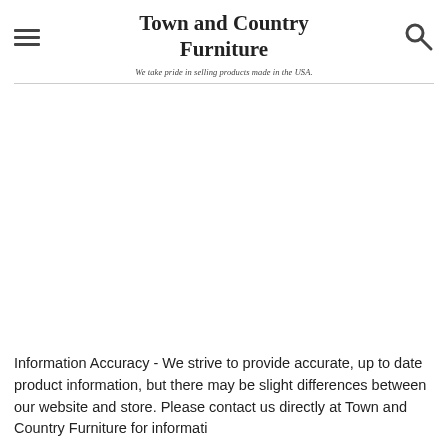Town and Country Furniture
We take pride in selling products made in the USA.
Information Accuracy - We strive to provide accurate, up to date product information, but there may be slight differences between our website and store. Please contact us directly at Town and Country Furniture for information